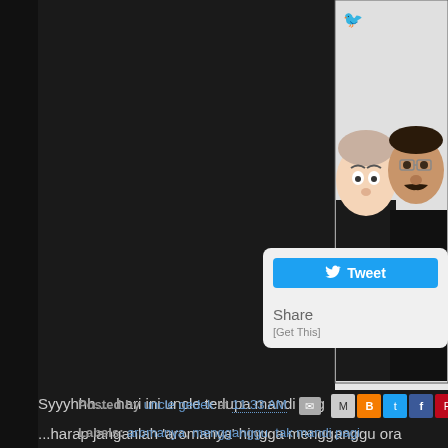[Figure (photo): Selfie of two people — a younger person with light hair making a surprised expression on the left, and an older man with glasses and a mustache on the right, both wearing dark clothing, white background behind them.]
Syyyhhh.... hari ini uncle terlupa mandi pag
...harap janganlah 'aromanya' hingga mengganggu ora
[Figure (screenshot): Tweet button widget with Twitter bird icon, Share label, and [Get This] link on white rounded rectangle background.]
Posted by uncle gedek at 11:33 AM
Labels: aromanya, mengganggu, tak mandi pagi